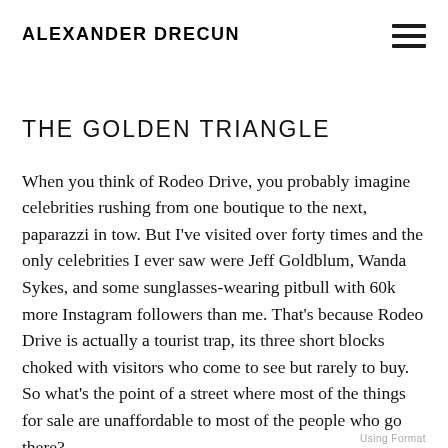ALEXANDER DRECUN
THE GOLDEN TRIANGLE
When you think of Rodeo Drive, you probably imagine celebrities rushing from one boutique to the next, paparazzi in tow. But I've visited over forty times and the only celebrities I ever saw were Jeff Goldblum, Wanda Sykes, and some sunglasses-wearing pitbull with 60k more Instagram followers than me. That's because Rodeo Drive is actually a tourist trap, its three short blocks choked with visitors who come to see but rarely to buy. So what's the point of a street where most of the things for sale are unaffordable to most of the people who go there?
Using Format